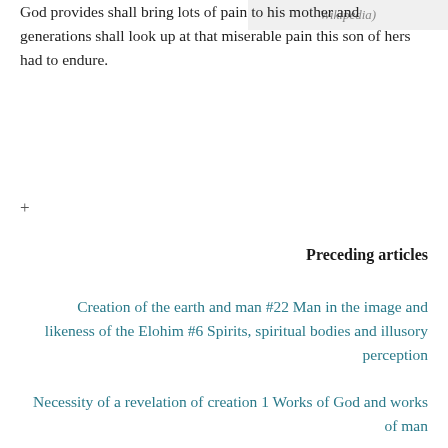God provides shall bring lots of pain to his mother and generations shall look up at that miserable pain this son of hers had to endure.
[Figure (other): Faded text caption referencing Wikipedia, partially visible at top right]
+
Preceding articles
Creation of the earth and man #22 Man in the image and likeness of the Elohim #6 Spirits, spiritual bodies and illusory perception
Necessity of a revelation of creation 1 Works of God and works of man